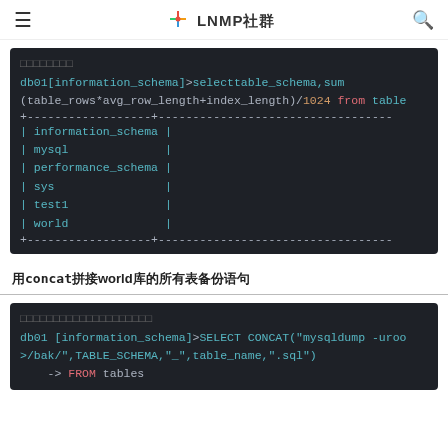≡  ✳ LNMP社群  🔍
[Figure (screenshot): Dark terminal code block showing MySQL query: db01[information_schema]>selecttable_schema,sum(table_rows*avg_row_length+index_length)/1024 from table with results listing information_schema, mysql, performance_schema, sys, test1, world]
用concat拼接world库的所有表备份语句
[Figure (screenshot): Dark terminal code block showing MySQL SELECT CONCAT query for mysqldump backup commands]